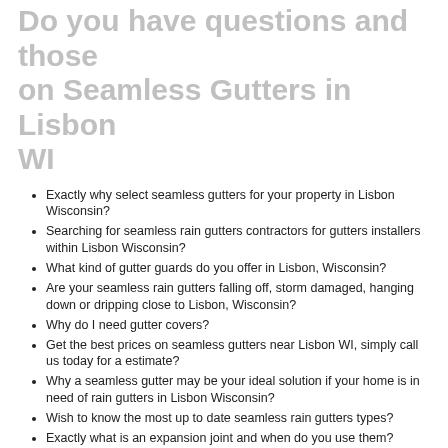Do you have questions and those on Seamless Gutters in Lisbon WI
Exactly why select seamless gutters for your property in Lisbon Wisconsin?
Searching for seamless rain gutters contractors for gutters installers within Lisbon Wisconsin?
What kind of gutter guards do you offer in Lisbon, Wisconsin?
Are your seamless rain gutters falling off, storm damaged, hanging down or dripping close to Lisbon, Wisconsin?
Why do I need gutter covers?
Get the best prices on seamless gutters near Lisbon WI, simply call us today for a estimate?
Why a seamless gutter may be your ideal solution if your home is in need of rain gutters in Lisbon Wisconsin?
Wish to know the most up to date seamless rain gutters types?
Exactly what is an expansion joint and when do you use them?
What are some of the benefits of setting up seamless gutters in Lisbon?